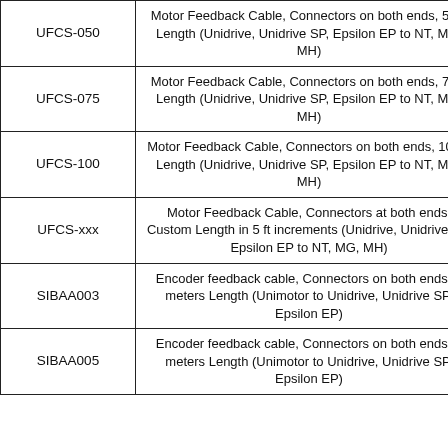| Part Number | Description |
| --- | --- |
| UFCS-050 | Motor Feedback Cable, Connectors on both ends, 50 ft Length (Unidrive, Unidrive SP, Epsilon EP to NT, MG, MH) |
| UFCS-075 | Motor Feedback Cable, Connectors on both ends, 75 ft Length (Unidrive, Unidrive SP, Epsilon EP to NT, MG, MH) |
| UFCS-100 | Motor Feedback Cable, Connectors on both ends, 100 ft Length (Unidrive, Unidrive SP, Epsilon EP to NT, MG, MH) |
| UFCS-xxx | Motor Feedback Cable, Connectors at both ends, Custom Length in 5 ft increments (Unidrive, Unidrive SP, Epsilon EP to NT, MG, MH) |
| SIBAA003 | Encoder feedback cable, Connectors on both ends, 3 meters Length (Unimotor to Unidrive, Unidrive SP, Epsilon EP) |
| SIBAA005 | Encoder feedback cable, Connectors on both ends, 5 meters Length (Unimotor to Unidrive, Unidrive SP, Epsilon EP) |